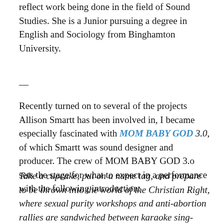reflect work being done in the field of Sound Studies. She is a Junior pursuing a degree in English and Sociology from Binghamton University.
—
Recently turned on to several of the projects Allison Smartt has been involved in, I became especially fascinated with MOM BABY GOD 3.0, of which Smartt was sound designer and producer. The crew of MOM BABY GOD 3.o sets the stage for what to expect in a performance with the following introduction:
Take a cupcake, put on a name tag, and prepare to be thrown into the world of the Christian Right, where sexual purity workshops and anti-abortion rallies are sandwiched between karaoke sing-alongs, Christian EDM raves and pro-life slumber parties. An immersive dark comedy about